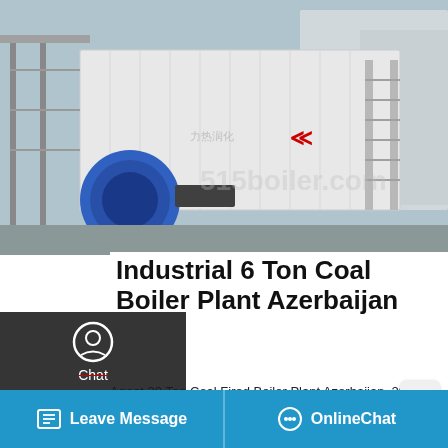[Figure (photo): Industrial coal boiler plant equipment — large white rectangular boiler unit with blue motor/burner assembly, scaffolding stairs, and industrial piping. Outdoor industrial setting.]
Industrial 6 Ton Coal Boiler Plant Azerbaijan
Agent 20 Ton Coal Fired Boiler Plant Azerbaijan. 20t Coal Boiler Plant Supplier Industrial Azerbaijan 20 t h horizontal oil gas fired steam Coal Fired Boiler h horizontal oil gas fired steam Steam - All - Videos - DirectIndustry Find your steam easily amongst the ... lling The HH is a steam that is